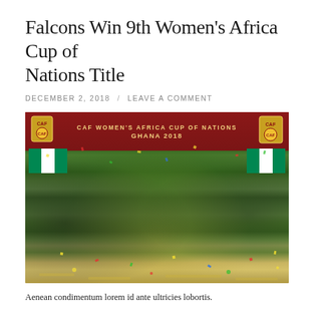Falcons Win 9th Women’s Africa Cup of Nations Title
DECEMBER 2, 2018  /  LEAVE A COMMENT
[Figure (photo): Nigeria Super Falcons team celebrating winning the CAF Women’s Africa Cup of Nations Ghana 2018, posing in front of a red banner, wearing green and black jerseys with green socks, confetti on the ground.]
Aenean condimentum lorem id ante ultricies lobortis.